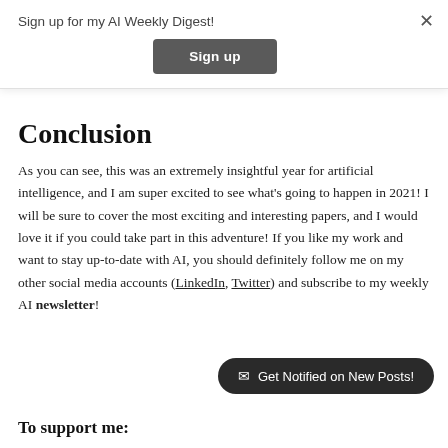Sign up for my AI Weekly Digest!
[Figure (other): Sign up button (dark grey rounded rectangle)]
Conclusion
As you can see, this was an extremely insightful year for artificial intelligence, and I am super excited to see what's going to happen in 2021! I will be sure to cover the most exciting and interesting papers, and I would love it if you could take part in this adventure! If you like my work and want to stay up-to-date with AI, you should definitely follow me on my other social media accounts (LinkedIn, Twitter) and subscribe to my weekly AI newsletter!
[Figure (other): Get Notified on New Posts! pill button (dark rounded rectangle with envelope icon)]
To support me: